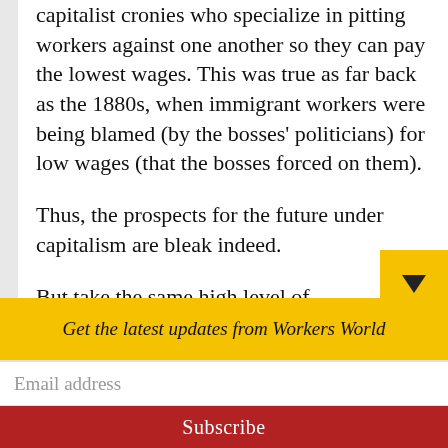capitalist cronies who specialize in pitting workers against one another so they can pay the lowest wages. This was true as far back as the 1880s, when immigrant workers were being blamed (by the bosses' politicians) for low wages (that the bosses forced on them).
Thus, the prospects for the future under capitalism are bleak indeed.
But take the same high level of technological development now achieved and put it to use raising living standards, reducing back-breaking labor, providing education and
Get the latest updates from Workers World
Email address
Subscribe